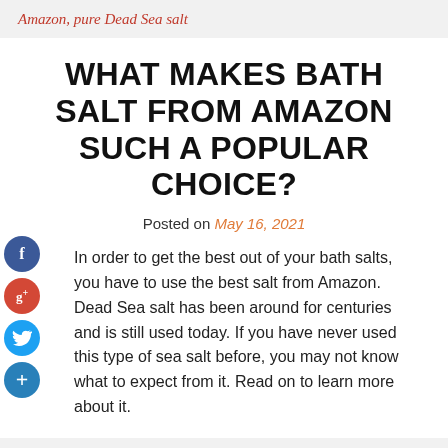Amazon, pure Dead Sea salt
WHAT MAKES BATH SALT FROM AMAZON SUCH A POPULAR CHOICE?
Posted on May 16, 2021
In order to get the best out of your bath salts, you have to use the best salt from Amazon. Dead Sea salt has been around for centuries and is still used today. If you have never used this type of sea salt before, you may not know what to expect from it. Read on to learn more about it.